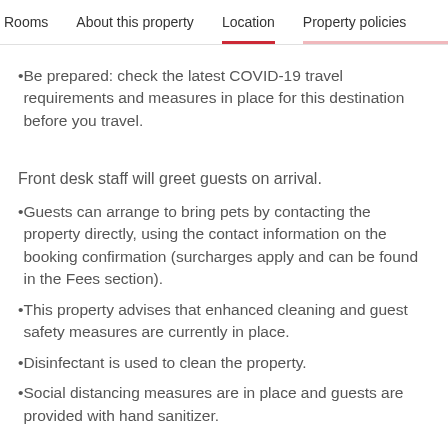Rooms   About this property   Location   Property policies
Be prepared: check the latest COVID-19 travel requirements and measures in place for this destination before you travel.
Front desk staff will greet guests on arrival.
Guests can arrange to bring pets by contacting the property directly, using the contact information on the booking confirmation (surcharges apply and can be found in the Fees section).
This property advises that enhanced cleaning and guest safety measures are currently in place.
Disinfectant is used to clean the property.
Social distancing measures are in place and guests are provided with hand sanitizer.